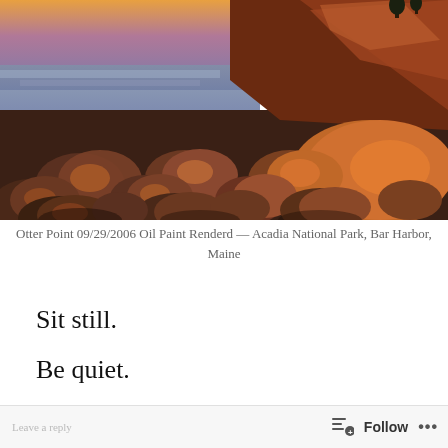[Figure (photo): Oil paint rendered photograph of Otter Point, Acadia National Park. Rocky coastal scene with rounded boulders in foreground illuminated by warm orange/red light, steep cliff face in background, ocean and purple-orange sky at dusk.]
Otter Point 09/29/2006 Oil Paint Renderd — Acadia National Park, Bar Harbor, Maine
Sit still.
Be quiet.
Follow ...